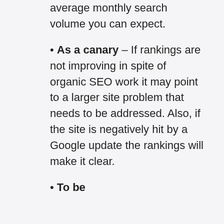average monthly search volume you can expect.
As a canary – If rankings are not improving in spite of organic SEO work it may point to a larger site problem that needs to be addressed. Also, if the site is negatively hit by a Google update the rankings will make it clear.
To be continued...